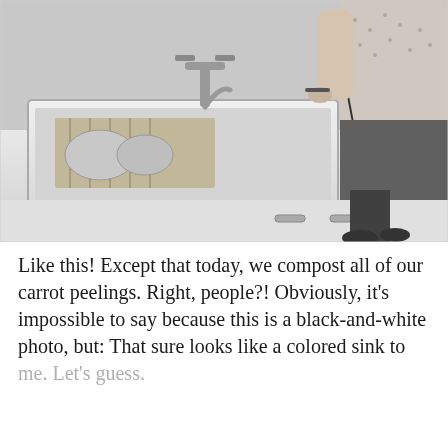[Figure (photo): Black-and-white vintage photograph of a woman standing at a kitchen sink, peeling or washing vegetables. The sink is a large double basin style. A dish drying rack with items is visible. The woman is wearing a floral apron or dress. Cabinet handles are visible below the counter.]
Like this! Except that today, we compost all of our carrot peelings. Right, people?! Obviously, it's impossible to say because this is a black-and-white photo, but: That sure looks like a colored sink to me. Let's guess.